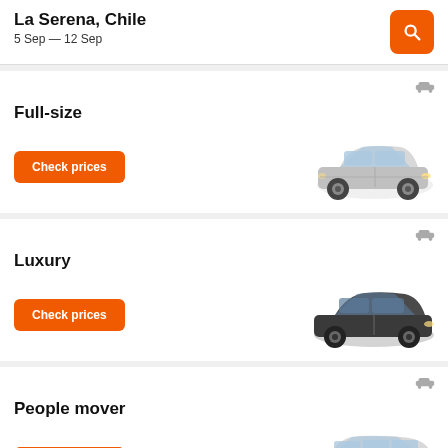La Serena, Chile
5 Sep — 12 Sep
Full-size
[Figure (photo): Silver full-size sedan car photo]
Check prices
Luxury
[Figure (photo): Dark luxury sedan car photo]
Check prices
People mover
[Figure (photo): Silver minivan / people mover car photo]
Check prices